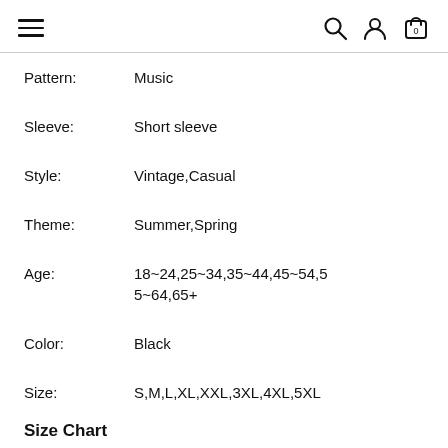Navigation header with hamburger menu, search, user, and cart icons
Pattern: Music
Sleeve: Short sleeve
Style: Vintage,Casual
Theme: Summer,Spring
Age: 18~24,25~34,35~44,45~54,55~64,65+
Color: Black
Size: S,M,L,XL,XXL,3XL,4XL,5XL
Size Chart
|  | Length | Bust | Shoulder |
| --- | --- | --- | --- |